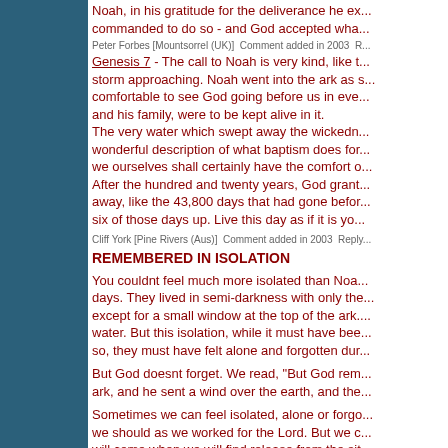Noah, in his gratitude for the deliverance he ex... commanded to do so - and God accepted wha...
Peter Forbes [Mountsorrel (UK)]  Comment added in 2003  R...
Genesis 7 - The call to Noah is very kind, like t... storm approaching. Noah went into the ark as s... comfortable to see God going before us in eve... and his family, were to be kept alive in it. The very water which swept away the wickedn... wonderful description of what baptism does for... we ourselves shall certainly have the comfort o... After the hundred and twenty years, God grant... away, like the 43,800 days that had gone befor... six of those days up. Live this day as if it is yo...
Cliff York [Pine Rivers (Aus)]  Comment added in 2003  Reply...
REMEMBERED IN ISOLATION
You couldnt feel much more isolated than Noa... days. They lived in semi-darkness with only the... except for a small window at the top of the ark.... water. But this isolation, while it must have bee... so, they must have felt alone and forgotten dur...
But God doesnt forget. We read, "But God rem... ark, and he sent a wind over the earth, and the...
Sometimes we can feel isolated, alone or forgo... we should as we worked for the Lord. But we c... will come when we will find release from the sit...
In the meantime we can be sure that our trials...